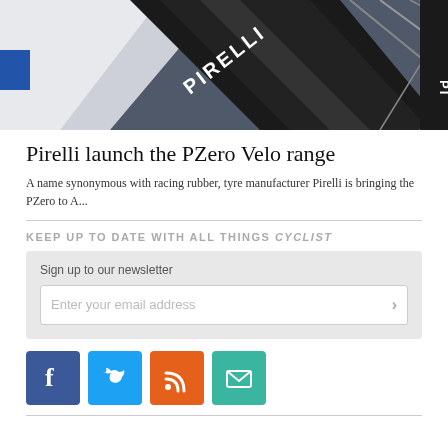[Figure (photo): Close-up photo of a Pirelli bicycle tyre on a racing bike wheel, showing the 'PIRELLI' text on the tyre sidewall with metallic wheel spokes in the background.]
Pirelli launch the PZero Velo range
A name synonymous with racing rubber, tyre manufacturer Pirelli is bringing the PZero to A...
KEEP UP TO DATE WITH ALL THINGS CYCLIST
Sign up to our newsletter
Enter your email address
[Figure (infographic): Row of four social media icon buttons: Facebook (blue), Twitter (light blue), RSS feed (orange), Email (teal/green).]